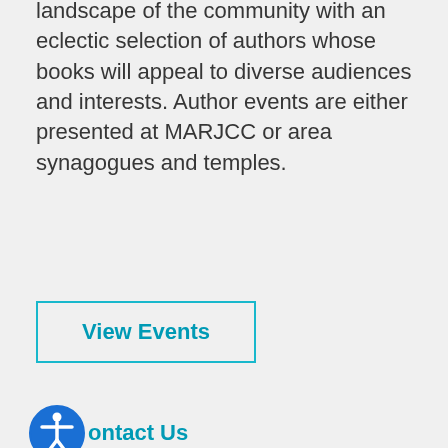landscape of the community with an eclectic selection of authors whose books will appeal to diverse audiences and interests. Author events are either presented at MARJCC or area synagogues and temples.
View Events
Contact Us
Jewish Book Review Series
Local rabbis, community leaders, community educators, and authors review books of Jewish